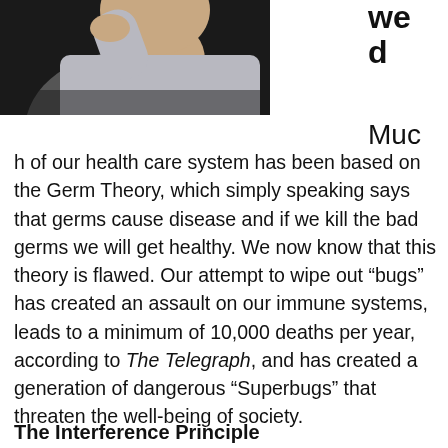[Figure (photo): A person (partially visible, wearing a grey/light colored sweater) with hand raised near their face, against a dark background.]
we
d
Much of our health care system has been based on the Germ Theory, which simply speaking says that germs cause disease and if we kill the bad germs we will get healthy. We now know that this theory is flawed. Our attempt to wipe out “bugs” has created an assault on our immune systems, leads to a minimum of 10,000 deaths per year, according to The Telegraph, and has created a generation of dangerous “Superbugs” that threaten the well-being of society.
The Interference Principle